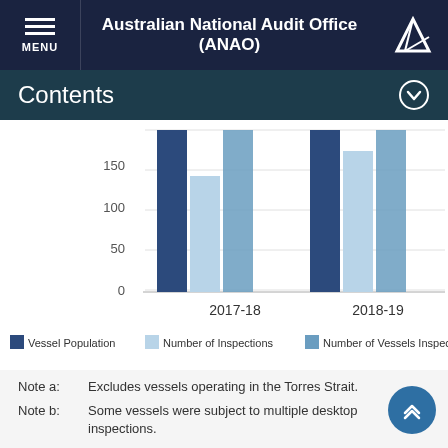Australian National Audit Office (ANAO)
Contents
[Figure (grouped-bar-chart): Vessel Inspections]
Note a: Excludes vessels operating in the Torres Strait.
Note b: Some vessels were subject to multiple desktop inspections.
Source: ANAO analysis of data extracted from AFMA information system.